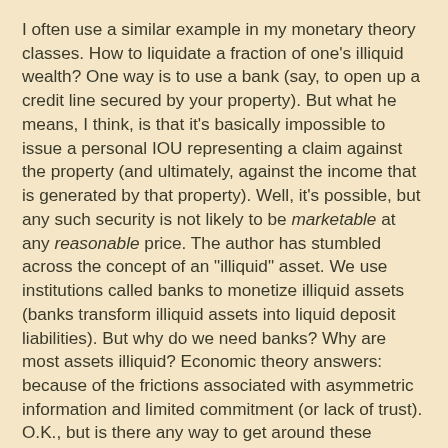I often use a similar example in my monetary theory classes. How to liquidate a fraction of one's illiquid wealth? One way is to use a bank (say, to open up a credit line secured by your property). But what he means, I think, is that it's basically impossible to issue a personal IOU representing a claim against the property (and ultimately, against the income that is generated by that property). Well, it's possible, but any such security is not likely to be marketable at any reasonable price. The author has stumbled across the concept of an "illiquid" asset. We use institutions called banks to monetize illiquid assets (banks transform illiquid assets into liquid deposit liabilities). But why do we need banks? Why are most assets illiquid? Economic theory answers: because of the frictions associated with asymmetric information and limited commitment (or lack of trust). O.K., but is there any way to get around these frictions without the use of banks? The same article continues:
Enter tokenization. Tokenization is a method that converts rights to an asset into a digital token. Suppose there is a $200,000 apartment. Tokenization converts from this asset into a ...